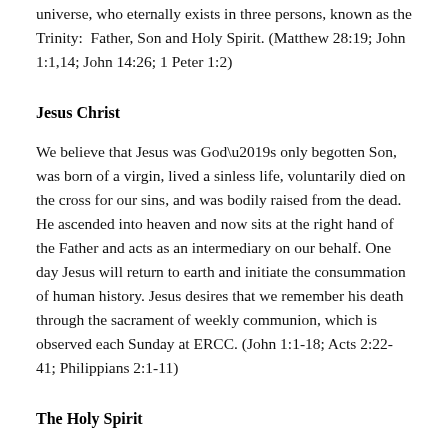universe, who eternally exists in three persons, known as the Trinity:  Father, Son and Holy Spirit. (Matthew 28:19; John 1:1,14; John 14:26; 1 Peter 1:2)
Jesus Christ
We believe that Jesus was God’s only begotten Son, was born of a virgin, lived a sinless life, voluntarily died on the cross for our sins, and was bodily raised from the dead. He ascended into heaven and now sits at the right hand of the Father and acts as an intermediary on our behalf. One day Jesus will return to earth and initiate the consummation of human history. Jesus desires that we remember his death through the sacrament of weekly communion, which is observed each Sunday at ERCC. (John 1:1-18; Acts 2:22-41; Philippians 2:1-11)
The Holy Spirit